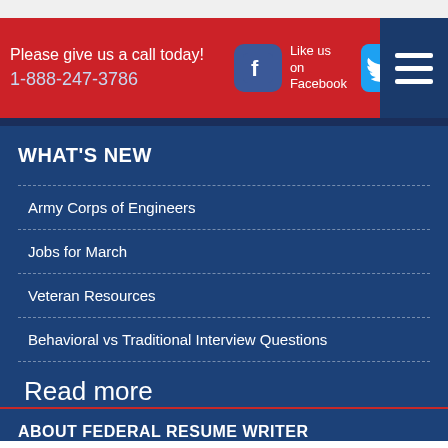Please give us a call today! 1-888-247-3786 | Like us on Facebook | Follow us @federalresumewriter
WHAT'S NEW
Army Corps of Engineers
Jobs for March
Veteran Resources
Behavioral vs Traditional Interview Questions
Read more
ABOUT FEDERAL RESUME WRITER